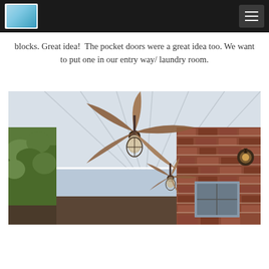Navigation bar with logo and hamburger menu
blocks. Great idea!  The pocket doors were a great idea too. We want to put one in our entry way/ laundry room.
[Figure (photo): Interior view of a covered porch/veranda with white painted tongue-and-groove ceiling, two ceiling fans with wooden blades and cage-style light fixtures, brick walls on the right side, a wall-mounted barn light sconce, and trees visible through the open left side.]